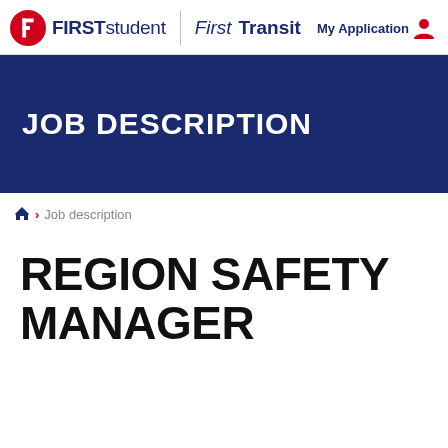FIRST student | First Transit | My Application
JOB DESCRIPTION
Home > Job description
REGION SAFETY MANAGER